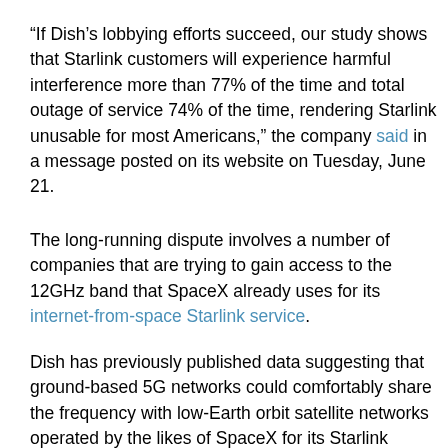“If Dish’s lobbying efforts succeed, our study shows that Starlink customers will experience harmful interference more than 77% of the time and total outage of service 74% of the time, rendering Starlink unusable for most Americans,” the company said in a message posted on its website on Tuesday, June 21.
The long-running dispute involves a number of companies that are trying to gain access to the 12GHz band that SpaceX already uses for its internet-from-space Starlink service.
Dish has previously published data suggesting that ground-based 5G networks could comfortably share the frequency with low-Earth orbit satellite networks operated by the likes of SpaceX for its Starlink service.
But this week, SpaceX said that their latest data “latest…